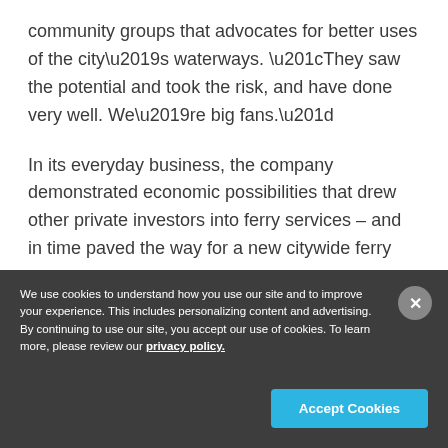community groups that advocates for better uses of the city’s waterways. “They saw the potential and took the risk, and have done very well. We’re big fans.”
In its everyday business, the company demonstrated economic possibilities that drew other private investors into ferry services – and in time paved the way for a new citywide ferry system.
We use cookies to understand how you use our site and to improve your experience. This includes personalizing content and advertising. By continuing to use our site, you accept our use of cookies. To learn more, please review our privacy policy.